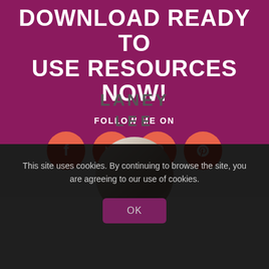DOWNLOAD READY TO USE RESOURCES NOW!
FOLLOW ME ON
[Figure (infographic): Four coral/salmon colored circular social media icons: Facebook (f), Twitter (bird), Instagram (camera), Pinterest (P)]
[Figure (photo): Circular profile photo placeholder with beige/tan tones, partially visible, with text LANEY LEE overlaid]
This site uses cookies. By continuing to browse the site, you are agreeing to our use of cookies.
OK